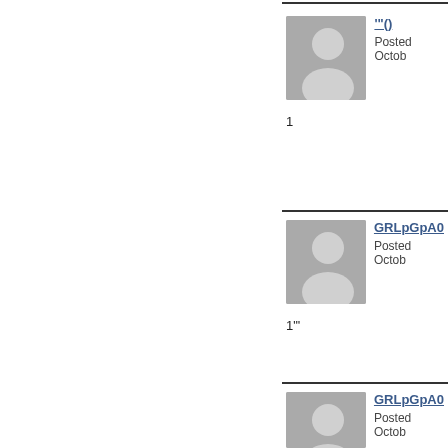[Figure (photo): Default user avatar silhouette placeholder (gray)]
'"()
Posted Octob…
1
[Figure (photo): Default user avatar silhouette placeholder (gray)]
GRLpGpA0…
Posted Octob…
1"'
[Figure (photo): Default user avatar silhouette placeholder (gray)]
GRLpGpA0…
Posted Octob…